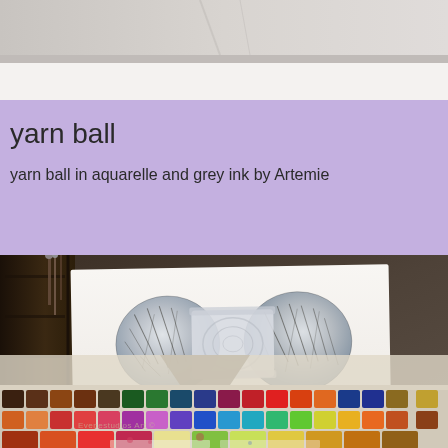[Figure (photo): Top portion of a photo showing a ceiling/wall area of an art studio, with light grey tones]
yarn ball
yarn ball in aquarelle and grey ink by Artemie
[Figure (photo): Photograph of an art studio workspace showing a watercolor painting of a yarn ball on white paper, surrounded by watercolor paint sets and art supplies. The painting depicts a yarn skein/ball rendered in aquarelle and grey ink. Below the painting are multiple watercolor paint palettes with many colors arranged in rows.]